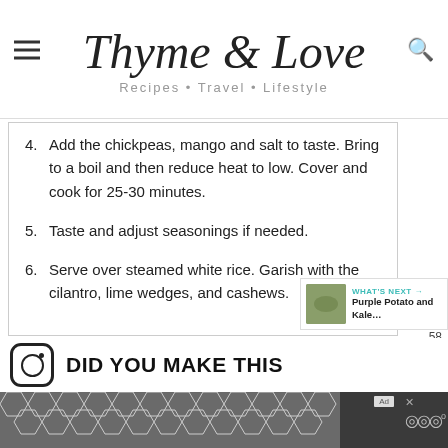Thyme & Love — Recipes • Travel • Lifestyle
Add the chickpeas, mango and salt to taste. Bring to a boil and then reduce heat to low. Cover and cook for 25-30 minutes.
Taste and adjust seasonings if needed.
Serve over steamed white rice. Garish with the cilantro, lime wedges, and cashews.
DID YOU MAKE THIS